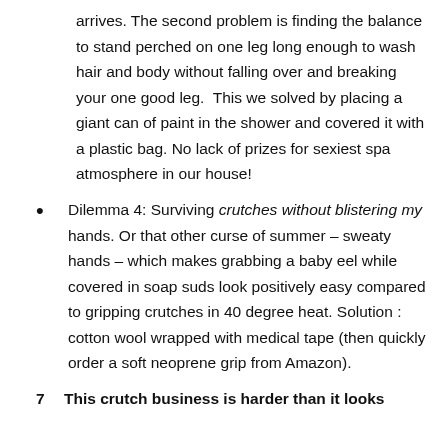arrives. The second problem is finding the balance to stand perched on one leg long enough to wash hair and body without falling over and breaking your one good leg. This we solved by placing a giant can of paint in the shower and covered it with a plastic bag. No lack of prizes for sexiest spa atmosphere in our house!
Dilemma 4: Surviving crutches without blistering my hands. Or that other curse of summer – sweaty hands – which makes grabbing a baby eel while covered in soap suds look positively easy compared to gripping crutches in 40 degree heat. Solution : cotton wool wrapped with medical tape (then quickly order a soft neoprene grip from Amazon).
7. This crutch business is harder than it looks